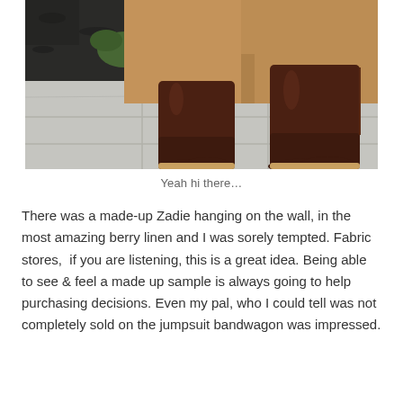[Figure (photo): Close-up photo of a person wearing tall dark brown leather riding boots and a tan/camel colored wide-leg trouser or jumpsuit, standing on light grey paving stones. Dark mulch and green plants visible in the background.]
Yeah hi there…
There was a made-up Zadie hanging on the wall, in the most amazing berry linen and I was sorely tempted. Fabric stores,  if you are listening, this is a great idea. Being able to see & feel a made up sample is always going to help purchasing decisions. Even my pal, who I could tell was not completely sold on the jumpsuit bandwagon was impressed.